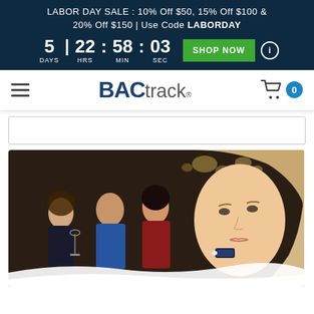LABOR DAY SALE : 10% Off $50, 15% Off $100 & 20% Off $150 | Use Code LABORDAY 5 DAYS 22 : 58 : 03 SHOP NOW
[Figure (screenshot): BACtrack website navigation bar with hamburger menu on left, BACtrack logo in center, shopping cart with 0 items on right]
[Figure (photo): Woman using a BACtrack breathalyzer device at a bar/social setting, with other people in the background]